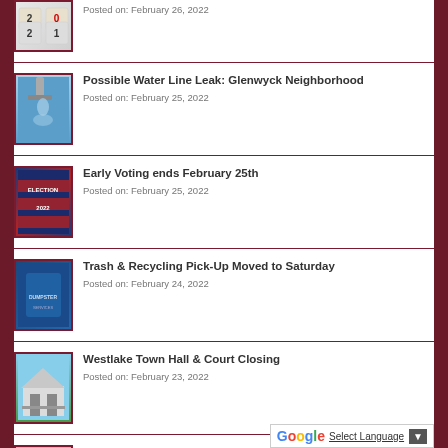Possible Water Line Leak: Glenwyck Neighborhood
Posted on: February 25, 2022
Early Voting ends February 25th
Posted on: February 25, 2022
Trash & Recycling Pick-Up Moved to Saturday
Posted on: February 24, 2022
Westlake Town Hall & Court Closing
Posted on: February 23, 2022
Westlake Academy Closing Due to Weather
Posted on: February 23, 2022